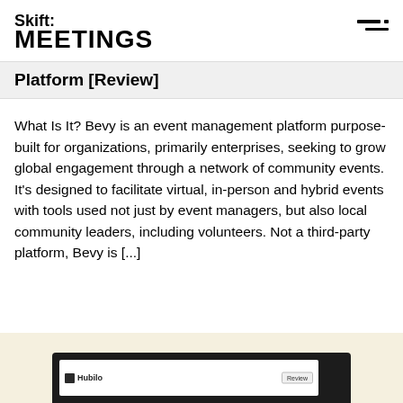Skift MEETINGS
Platform [Review]
What Is It? Bevy is an event management platform purpose-built for organizations, primarily enterprises, seeking to grow global engagement through a network of community events. It's designed to facilitate virtual, in-person and hybrid events with tools used not just by event managers, but also local community leaders, including volunteers. Not a third-party platform, Bevy is [...]
[Figure (screenshot): Screenshot of Hubilo event platform interface shown in dark-framed browser/device mockup against a cream/beige background, partially visible at bottom of page]